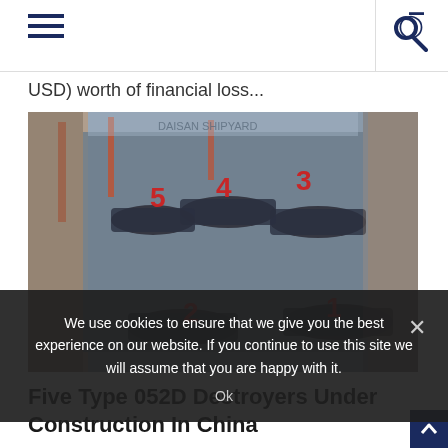[hamburger menu] [search icon]
USD) worth of financial loss...
[Figure (photo): Aerial photograph of a Chinese naval shipyard showing five Type 052D destroyers under construction, labeled with red numbers 1 through 5.]
We use cookies to ensure that we give you the best experience on our website. If you continue to use this site we will assume that you are happy with it.
Five Type 052D Destroyers Under Construction In China